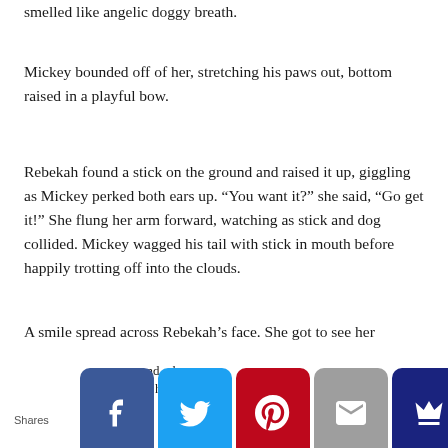smelled like angelic doggy breath.
Mickey bounded off of her, stretching his paws out, bottom raised in a playful bow.
Rebekah found a stick on the ground and raised it up, giggling as Mickey perked both ears up. “You want it?” she said, “Go get it!” She flung her arm forward, watching as stick and dog collided. Mickey wagged his tail with stick in mouth before happily trotting off into the clouds.
A smile spread across Rebekah’s face. She got to see her grandma again. And now she knew the Rainbow Bridge wasn’t something her mom made up to make her feel better.
Shares